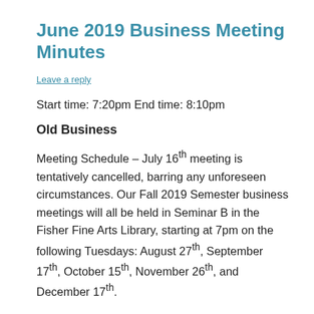June 2019 Business Meeting Minutes
Leave a reply
Start time: 7:20pm End time: 8:10pm
Old Business
Meeting Schedule – July 16th meeting is tentatively cancelled, barring any unforeseen circumstances. Our Fall 2019 Semester business meetings will all be held in Seminar B in the Fisher Fine Arts Library, starting at 7pm on the following Tuesdays: August 27th, September 17th, October 15th, November 26th, and December 17th.
Winter Nights South – Caer Adamant will be expanding the